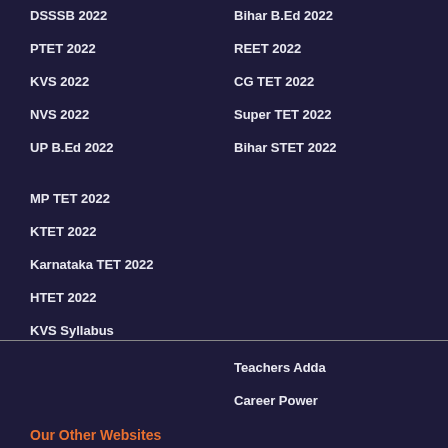DSSSB 2022
PTET 2022
KVS 2022
NVS 2022
UP B.Ed 2022
MP TET 2022
KTET 2022
Karnataka TET 2022
HTET 2022
KVS Syllabus
Bihar B.Ed 2022
REET 2022
CG TET 2022
Super TET 2022
Bihar STET 2022
Our Other Websites
Teachers Adda
Career Power